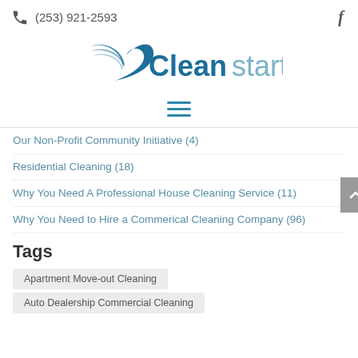(253) 921-2593
[Figure (logo): Cleanstart logo with swoosh icon and two-tone text: 'Clean' in dark teal, 'start' in light blue-gray]
[Figure (other): Hamburger menu icon (three horizontal lines)]
Our Non-Profit Community Initiative (4)
Residential Cleaning (18)
Why You Need A Professional House Cleaning Service (11)
Why You Need to Hire a Commerical Cleaning Company (96)
Tags
Apartment Move-out Cleaning
Auto Dealership Commercial Cleaning